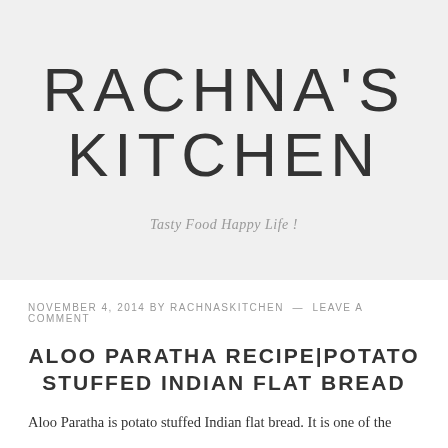RACHNA'S KITCHEN
Tasty Food Happy Life !
NOVEMBER 4, 2014 BY RACHNASKITCHEN — LEAVE A COMMENT
ALOO PARATHA RECIPE|POTATO STUFFED INDIAN FLAT BREAD
Aloo Paratha is potato stuffed Indian flat bread. It is one of the